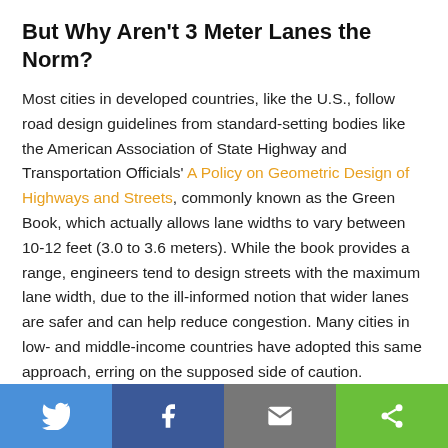But Why Aren't 3 Meter Lanes the Norm?
Most cities in developed countries, like the U.S., follow road design guidelines from standard-setting bodies like the American Association of State Highway and Transportation Officials' A Policy on Geometric Design of Highways and Streets, commonly known as the Green Book, which actually allows lane widths to vary between 10-12 feet (3.0 to 3.6 meters). While the book provides a range, engineers tend to design streets with the maximum lane width, due to the ill-informed notion that wider lanes are safer and can help reduce congestion. Many cities in low- and middle-income countries have adopted this same approach, erring on the supposed side of caution.
To be with…